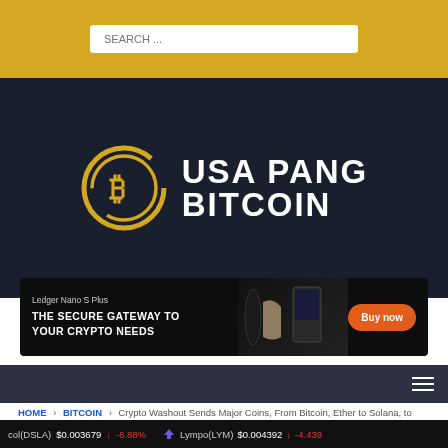[Figure (screenshot): Search bar area with yellow/gold background and white search input field with placeholder text SEARCH ...]
[Figure (logo): USA Pang Bitcoin logo: yellow Bitcoin circular icon on left, white bold text USA PANG BITCOIN on right, dark navy background]
[Figure (photo): Ledger Nano S Plus advertisement banner: black background, device image center, text THE SECURE GATEWAY TO YOUR CRYPTO NEEDS, orange Buy now button]
[Figure (screenshot): Dark navigation bar with hamburger menu icon on the right]
HOME > BITCOIN > Crypto Washout Sends Major Coins, From Bitcoin, Ether to Solana, to Lowest Levels of 2022
Crypto Washout Sends Major
[Figure (screenshot): Crypto ticker bar at the bottom: col(DSLA) $0.003679 down -6.88% | Lympo(LYM) $0.004392 down -4.439]